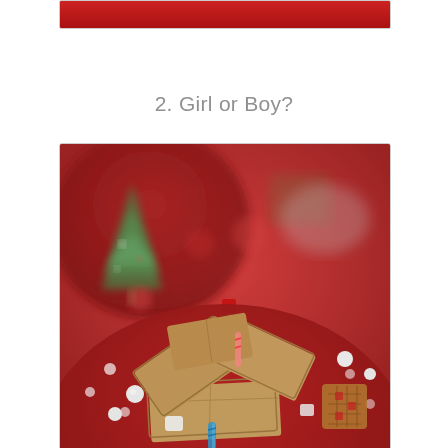[Figure (photo): Partial view of a red holiday/Christmas themed table setting with food, cropped at the top of the page]
2. Girl or Boy?
[Figure (photo): A collapsed or broken gingerbread/graham cracker house on a red decorative plate, with a Christmas tree decoration, white candy balls, a waffle pretzel, and a blue candle visible. The scene is set on a red tablecloth with holiday decorations in the background.]